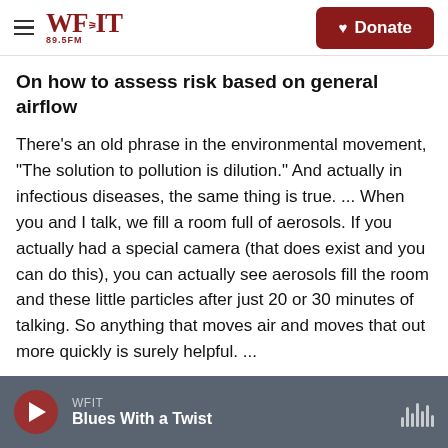WFIT 89.5FM | Donate
On how to assess risk based on general airflow
There's an old phrase in the environmental movement, "The solution to pollution is dilution." And actually in infectious diseases, the same thing is true. ... When you and I talk, we fill a room full of aerosols. If you actually had a special camera (that does exist and you can do this), you can actually see aerosols fill the room and these little particles after just 20 or 30 minutes of talking. So anything that moves air and moves that out more quickly is surely helpful. ...
WFIT | Blues With a Twist